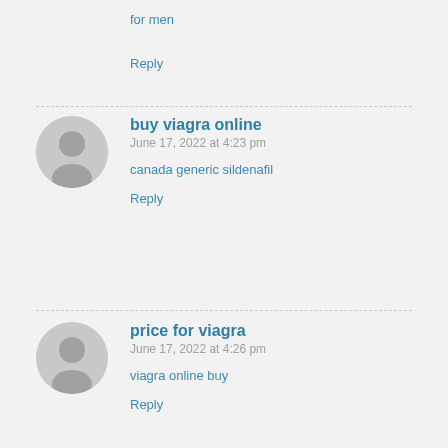for men
Reply
buy viagra online
June 17, 2022 at 4:23 pm
canada generic sildenafil
Reply
price for viagra
June 17, 2022 at 4:26 pm
viagra online buy
Reply